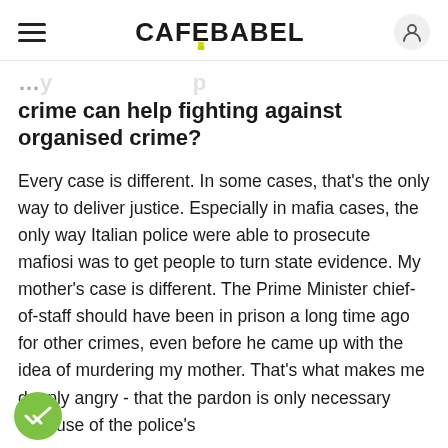CAFEBABEL
…crime can help fighting against organised crime?
Every case is different. In some cases, that's the only way to deliver justice. Especially in mafia cases, the only way Italian police were able to prosecute mafiosi was to get people to turn state evidence. My mother's case is different. The Prime Minister chief-of-staff should have been in prison a long time ago for other crimes, even before he came up with the idea of murdering my mother. That's what makes me deeply angry - that the pardon is only necessary because of the police's…